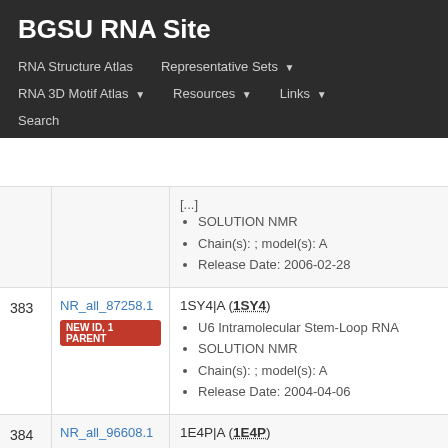BGSU RNA Site
RNA Structure Atlas | Representative Sets | RNA 3D Motif Atlas | Resources | Links | Search
| # | ID | Info |
| --- | --- | --- |
|  |  | [...]
• SOLUTION NMR
• Chain(s): ; model(s): A
• Release Date: 2006-02-28 |
| 383 | NR_all_87258.1
NEW ID, 1 PARENT | 1SY4|A (1SY4)
• U6 Intramolecular Stem-Loop RNA
• SOLUTION NMR
• Chain(s): ; model(s): A
• Release Date: 2004-04-06 |
| 384 | NR_all_96608.1
EXACT MATCH
Neurospora | 1E4P|A (1E4P)
• RNA (5'-R(*GP*UP*GP*CP*GP*AP*AP*GP*AP*CP...
• SOLUTION NMR
• Chain(s): ; model(s): A |